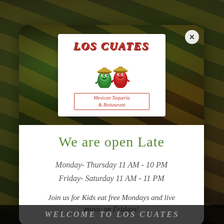[Figure (photo): Background photo of tacos with fresh cilantro and green herb toppings in dark lighting]
[Figure (logo): Los Cuates Mexican Taqueria & Restaurant logo featuring two cartoon pepper mascots (a green jalapeño and a red chili pepper) wearing sombreros, with the restaurant name in red stylized text above and 'Mexican Taqueria & Restaurant' subtitle below]
We are open Late
Monday- Thursday 11 AM - 10 PM
Friday- Saturday 11 AM - 11 PM
Join us for Kids eat free Mondays and live music on Fridays!
WELCOME TO LOS CUATES